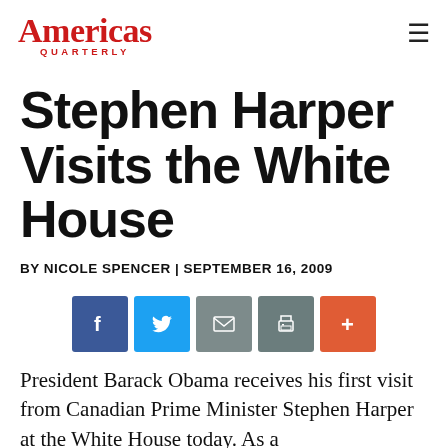Americas Quarterly
Stephen Harper Visits the White House
BY NICOLE SPENCER | SEPTEMBER 16, 2009
[Figure (infographic): Social sharing buttons: Facebook (blue), Twitter (light blue), Email (gray), Print (teal-gray), Add/Plus (orange-red)]
President Barack Obama receives his first visit from Canadian Prime Minister Stephen Harper at the White House today. As a